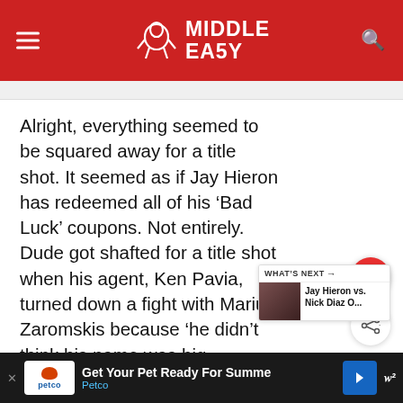Middle Easy
Alright, everything seemed to be squared away for a title shot. It seemed as if Jay Hieron has redeemed all of his ‘Bad Luck’ coupons. Not entirely. Dude got shafted for a title shot when his agent, Ken Pavia, turned down a fight with Marius Zaromskis because ‘he didn’t think his name was big enough’. Damn. Instead, Strikeforce pairs together the Dream Welterweight GP champion with Nick Diaz... Strikeforce welterweight title which was held this pa... ...ron
[Figure (screenshot): What's Next card: Jay Hieron vs. Nick Diaz O... with fighter photo]
[Figure (screenshot): Advertisement banner: Petco - Get Your Pet Ready For Summer]